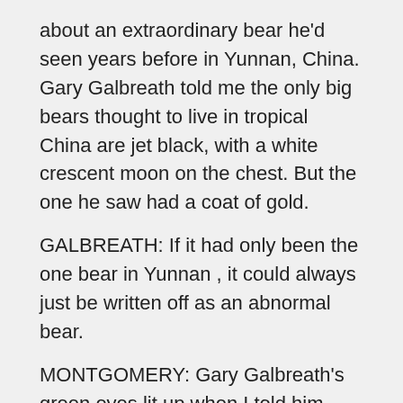about an extraordinary bear he'd seen years before in Yunnan, China. Gary Galbreath told me the only big bears thought to live in tropical China are jet black, with a white crescent moon on the chest. But the one he saw had a coat of gold.
GALBREATH: If it had only been the one bear in Yunnan , it could always just be written off as an abnormal bear.
MONTGOMERY: Gary Galbreath's green eyes lit up when I told him about Sun Hean's bear. He had to go to Cambodia to see for himself, and I was to go along.
GALBREATH: Oh, I was very excited. Now that we know that such bears can be found and over a very substantial area of land in Southeast Asia, this means that either we're looking at a color phase, or something of the sort, which is important to document, or we are looking at a